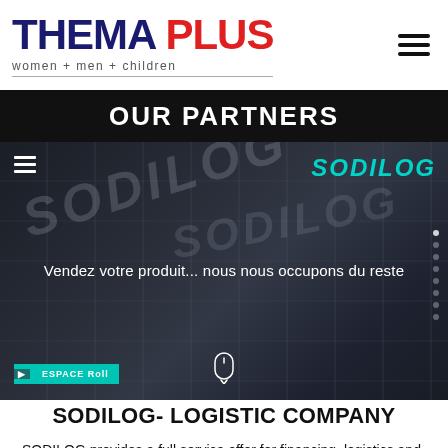THEMA PLUS women + men + children
OUR PARTNERS
[Figure (screenshot): Screenshot of SODILOG website hero image: dark building with SODILOG branding in teal/cyan text top right, slogan 'Vendez votre produit... nous nous occupons du reste' in white text, hamburger menu top left, ESPACE Roll button bottom left, mouse icon bottom center, vertical navigation dots right side.]
SODILOG- LOGISTIC COMPANY
SODILOG provides a full service offer for financing, logistics and back office activities. The service is wide enough from LC